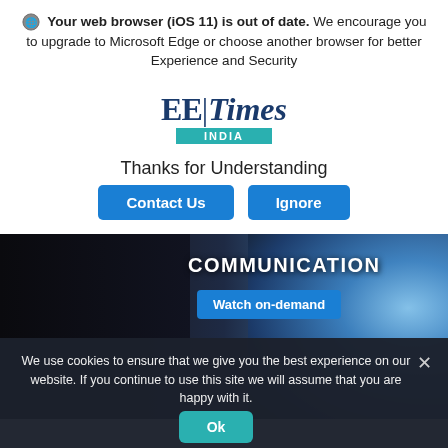🌐 Your web browser (iOS 11) is out of date. We encourage you to upgrade to Microsoft Edge or choose another browser for better Experience and Security
[Figure (logo): EE Times India logo with teal bar]
Thanks for Understanding
Contact Us   Ignore
[Figure (screenshot): Dark background image with COMMUNICATION heading and Watch on-demand blue button, satellite imagery visible]
We use cookies to ensure that we give you the best experience on our website. If you continue to use this site we will assume that you are happy with it.
Ok